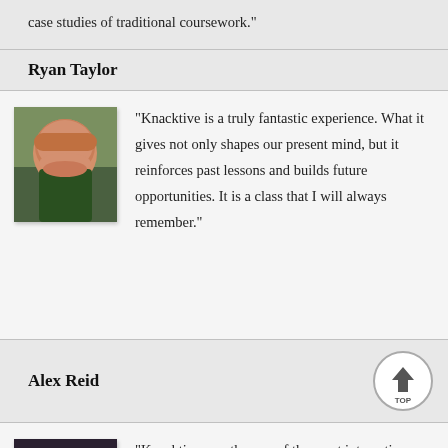case studies of traditional coursework."
Ryan Taylor
[Figure (photo): Headshot of Ryan Taylor, a heavyset man with reddish hair wearing a green shirt, smiling]
"Knacktive is a truly fantastic experience. What it gives not only shapes our present mind, but it reinforces past lessons and builds future opportunities. It is a class that I will always remember."
Alex Reid
[Figure (photo): Headshot of Alex Reid, a young woman with dark hair and bangs wearing glasses]
"Knacktive was the one of the most interactive class that I took at Northwest. I learned so much about the details that go into